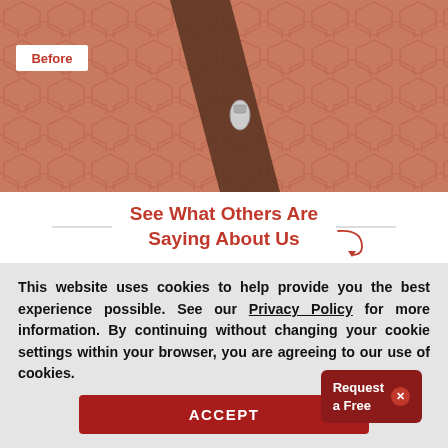[Figure (photo): A close-up photo of hexagonal terracotta floor tiles with a leg/person visible and what appears to be a small silver charm or object. A white label overlay reads 'Before' in red text.]
See What Others Are Saying About Us
★★★★★
Mark B - Chicago, IL
July 01, 2022
Request a Free
This website uses cookies to help provide you the best experience possible. See our Privacy Policy for more information. By continuing without changing your cookie settings within your browser, you are agreeing to our use of cookies.
ACCEPT